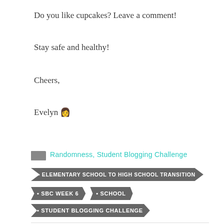Do you like cupcakes? Leave a comment!
Stay safe and healthy!
Cheers,
Evelyn 👩
Randomness, Student Blogging Challenge
ELEMENTARY SCHOOL TO HIGH SCHOOL TRANSITION
SBC WEEK 6
SCHOOL
STUDENT BLOGGING CHALLENGE
PREVIOUS POST
A Post About Our Lovely Earth
NEXT POST